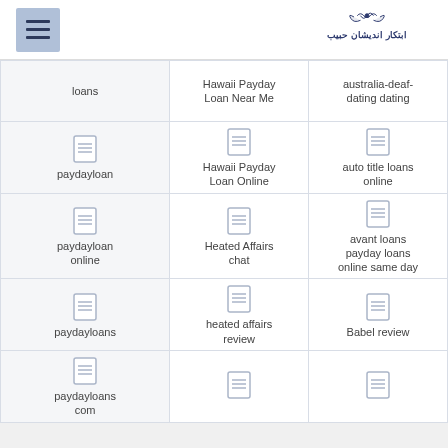[Figure (logo): Website header with hamburger menu icon on left and Arabic/Persian logo on right]
| Col1 | Col2 | Col3 |
| --- | --- | --- |
| loans | Hawaii Payday Loan Near Me | australia-deaf-dating dating |
| [icon]
paydayloan | [icon]
Hawaii Payday Loan Online | [icon]
auto title loans online |
| [icon]
paydayloan online | [icon]
Heated Affairs chat | [icon]
avant loans payday loans online same day |
| [icon]
paydayloans | [icon]
heated affairs review | [icon]
Babel review |
| [icon]
paydayloans com | [icon] | [icon] |